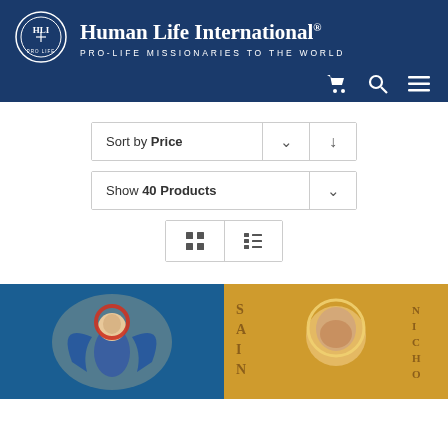[Figure (logo): Human Life International logo - circular emblem with HLI letters]
Human Life International®
PRO-LIFE MISSIONARIES TO THE WORLD
Sort by Price
Show 40 Products
[Figure (screenshot): Grid and list view toggle buttons]
[Figure (photo): Religious icon - angel with blue wings and red halo on decorative background with blue border]
[Figure (photo): Religious icon - Saint Nicholas portrait on gold background with text SAINT NICHO...]